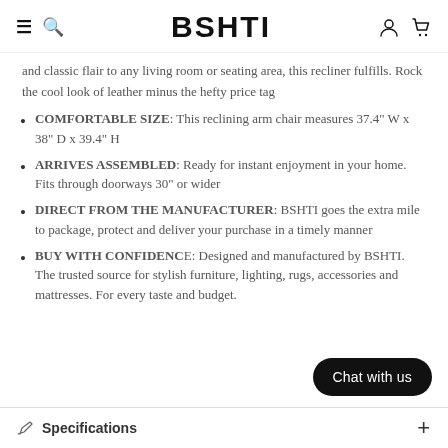BSHTI
and classic flair to any living room or seating area, this recliner fulfills. Rock the cool look of leather minus the hefty price tag
COMFORTABLE SIZE: This reclining arm chair measures 37.4" W x 38" D x 39.4" H
ARRIVES ASSEMBLED: Ready for instant enjoyment in your home. Fits through doorways 30" or wider
DIRECT FROM THE MANUFACTURER: BSHTI goes the extra mile to package, protect and deliver your purchase in a timely manner
BUY WITH CONFIDENCE: Designed and manufactured by BSHTI. The trusted source for stylish furniture, lighting, rugs, accessories and mattresses. For every taste and budget.
Specifications